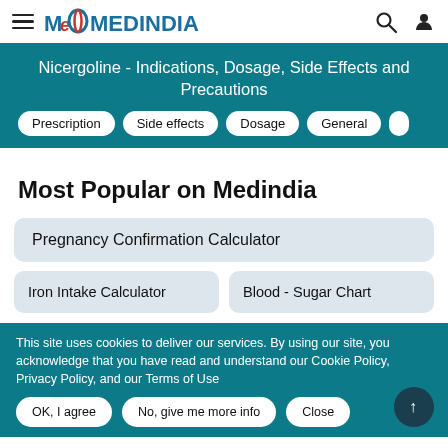MEDINDIA
Nicergoline - Indications, Dosage, Side Effects and Precautions
Prescription
Side effects
Dosage
General
Most Popular on Medindia
Pregnancy Confirmation Calculator
Iron Intake Calculator
Blood - Sugar Chart
This site uses cookies to deliver our services. By using our site, you acknowledge that you have read and understand our Cookie Policy, Privacy Policy, and our Terms of Use